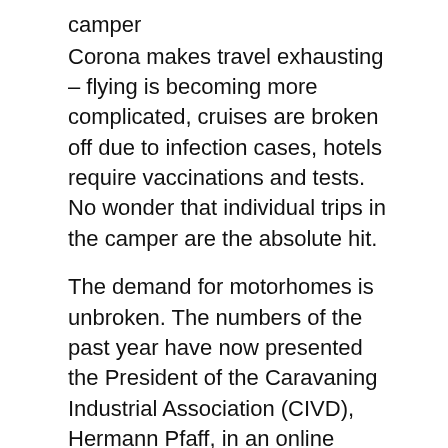camper
Corona makes travel exhausting – flying is becoming more complicated, cruises are broken off due to infection cases, hotels require vaccinations and tests. No wonder that individual trips in the camper are the absolute hit.
The demand for motorhomes is unbroken. The numbers of the past year have now presented the President of the Caravaning Industrial Association (CIVD), Hermann Pfaff, in an online conference. Accordingly, 81 in the past twelve months.240 Campmobile re - approved, this corresponds to an increase of 4.3 percent. In the past four years alone, this number has more than doubled, said Pfaff.